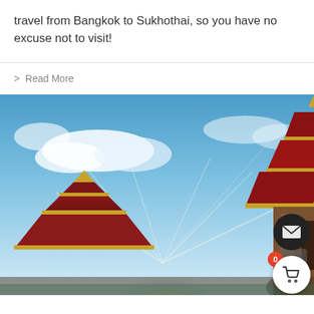travel from Bangkok to Sukhothai, so you have no excuse not to visit!
> Read More
[Figure (photo): Thai Buddhist temple with ornate red and gold rooftop against a dramatic blue sky with sunbeams and clouds. Two temple structures visible, one larger in the background and one lower in the foreground, with elephant statue visible at lower right. UI overlay elements: an up-arrow button, a mail/envelope button, a cart button with badge showing 0.]